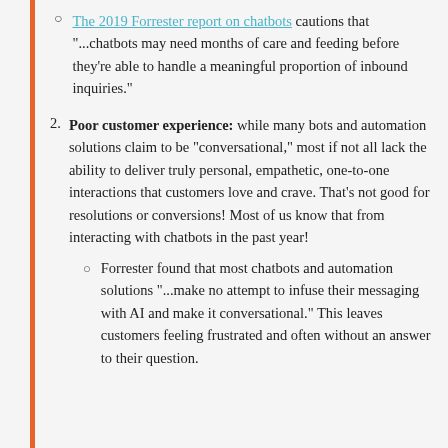The 2019 Forrester report on chatbots cautions that "...chatbots may need months of care and feeding before they're able to handle a meaningful proportion of inbound inquiries."
Poor customer experience: while many bots and automation solutions claim to be "conversational," most if not all lack the ability to deliver truly personal, empathetic, one-to-one interactions that customers love and crave. That's not good for resolutions or conversions! Most of us know that from interacting with chatbots in the past year!
Forrester found that most chatbots and automation solutions "...make no attempt to infuse their messaging with AI and make it conversational." This leaves customers feeling frustrated and often without an answer to their question.